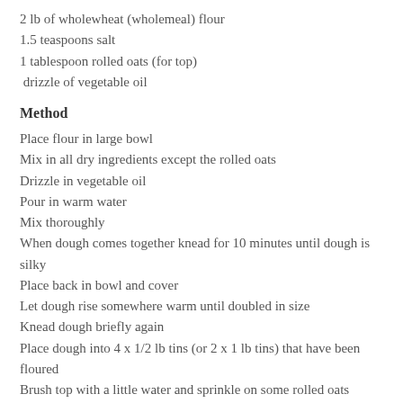2 lb of wholewheat (wholemeal) flour
1.5 teaspoons salt
1 tablespoon rolled oats (for top)
drizzle of vegetable oil
Method
Place flour in large bowl
Mix in all dry ingredients except the rolled oats
Drizzle in vegetable oil
Pour in warm water
Mix thoroughly
When dough comes together knead for 10 minutes until dough is silky
Place back in bowl and cover
Let dough rise somewhere warm until doubled in size
Knead dough briefly again
Place dough into 4 x 1/2 lb tins (or 2 x 1 lb tins) that have been floured
Brush top with a little water and sprinkle on some rolled oats
Leave to rise for around 20 minutes
Place in oven at 180 0C for around 30-40 mins (depending on the size of the loaf)
Remove from oven